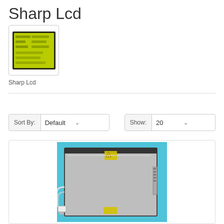Sharp Lcd
[Figure (photo): Thumbnail image of a Sharp LCD module showing green backlit display with characters]
Sharp Lcd
Product Compare (0)
Sort By: Default
Show: 20
[Figure (photo): Photo of a Sharp LCD panel backside showing metal frame, yellow tape, and wire connectors on a light blue background]